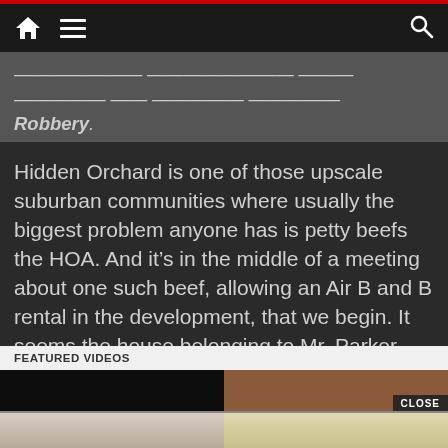Robbery.
Hidden Orchard is one of those upscale suburban communities where usually the biggest problem anyone has is petty beefs the HOA. And it’s in the middle of a meeting about one such beef, allowing an Air B and B rental in the development, that we begin. It seems the house belonging to Mr. Parker (Donovan Williams) and his wife (Kim Akia) has been broken into. The house that was the subject of the meeting.
FEATURED VIDEOS
[Figure (photo): Two video thumbnails side by side: left is dark/black, right has food image with a CLOSE button overlay]
[Figure (photo): Two video thumbnails side by side below: left shows meat dish on white plate, right shows a pastry/biscuit dish]